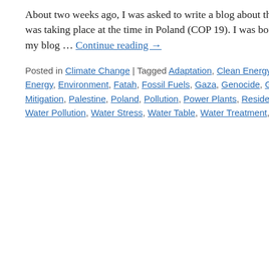About two weeks ago, I was asked to write a blog about the ong… was taking place at the time in Poland (COP 19). I was born in … my blog … Continue reading →
Posted in Climate Change | Tagged Adaptation, Clean Energy, Climate Cha… Energy, Environment, Fatah, Fossil Fuels, Gaza, Genocide, Global Warming,… Mitigation, Palestine, Poland, Pollution, Power Plants, Residence Time, Self … Water Pollution, Water Stress, Water Table, Water Treatment, World Populati…